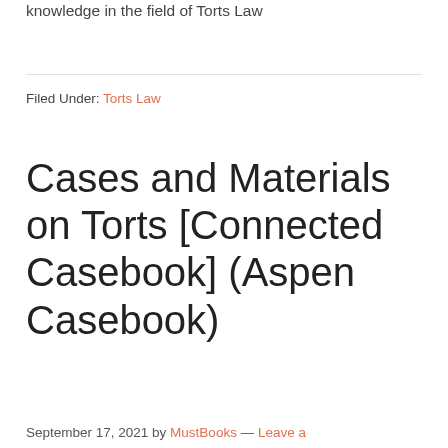knowledge in the field of Torts Law
Filed Under: Torts Law
Cases and Materials on Torts [Connected Casebook] (Aspen Casebook)
September 17, 2021 by MustBooks — Leave a